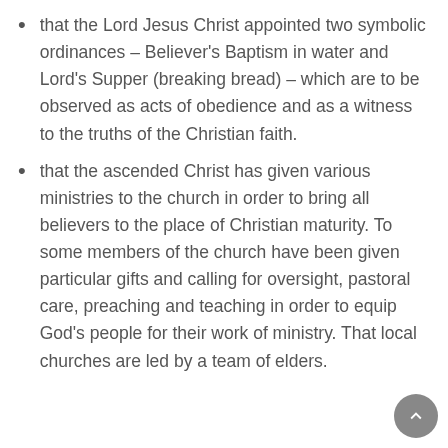that the Lord Jesus Christ appointed two symbolic ordinances – Believer's Baptism in water and Lord's Supper (breaking bread) – which are to be observed as acts of obedience and as a witness to the truths of the Christian faith.
that the ascended Christ has given various ministries to the church in order to bring all believers to the place of Christian maturity. To some members of the church have been given particular gifts and calling for oversight, pastoral care, preaching and teaching in order to equip God's people for their work of ministry. That local churches are led by a team of elders.